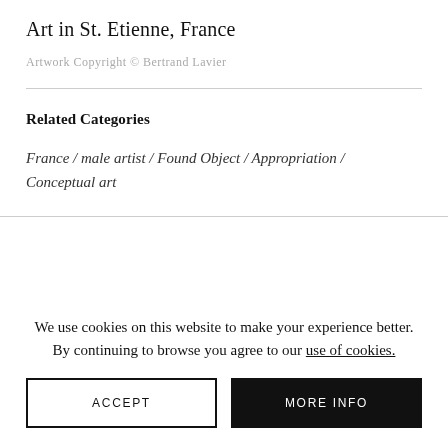Art in St. Etienne, France
Artwork Copyright © Bertrand Lavier
Related Categories
France / male artist / Found Object / Appropriation / Conceptual art
We use cookies on this website to make your experience better. By continuing to browse you agree to our use of cookies.